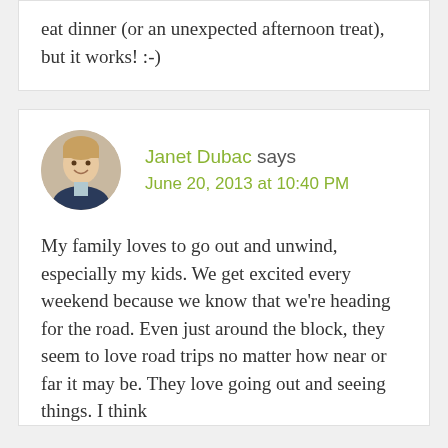eat dinner (or an unexpected afternoon treat), but it works! :-)
Janet Dubac says
June 20, 2013 at 10:40 PM
My family loves to go out and unwind, especially my kids. We get excited every weekend because we know that we're heading for the road. Even just around the block, they seem to love road trips no matter how near or far it may be. They love going out and seeing things. I think